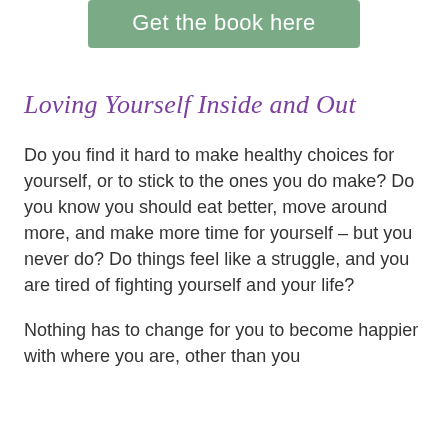[Figure (other): Green button with white text reading 'Get the book here']
Loving Yourself Inside and Out
Do you find it hard to make healthy choices for yourself, or to stick to the ones you do make? Do you know you should eat better, move around more, and make more time for yourself – but you never do? Do things feel like a struggle, and you are tired of fighting yourself and your life?
Nothing has to change for you to become happier with where you are, other than you